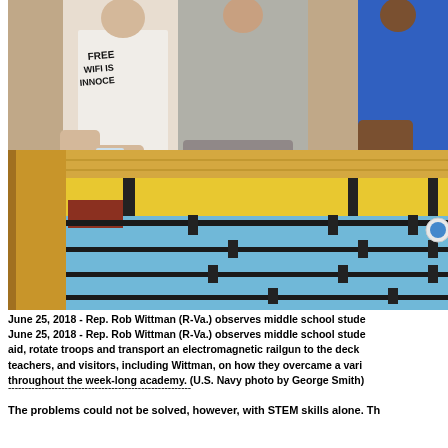[Figure (photo): Middle school students leaning over a large model/game board with yellow and blue stripes and dark rectangular markers, with Rep. Rob Wittman observing. Several people are seen from the waist up around a long flat board-like structure.]
June 25, 2018 - Rep. Rob Wittman (R-Va.) observes middle school students as they present their solutions to aid, rotate troops and transport an electromagnetic railgun to the deck of the ship. Students briefed parents, teachers, and visitors, including Wittman, on how they overcame a variety of engineering challenges they tackled throughout the week-long academy. (U.S. Navy photo by George Smith)
The problems could not be solved, however, with STEM skills alone. Th